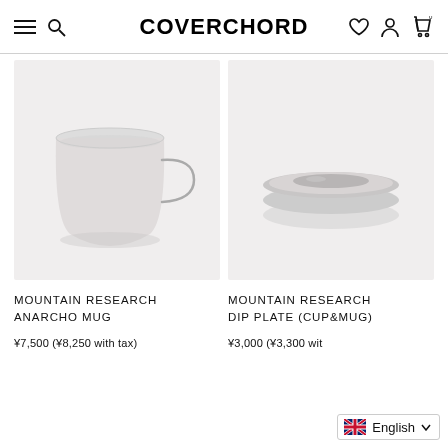COVERCHORD
[Figure (photo): Light gray enamel mug with wire handle on light gray background — Mountain Research Anarcho Mug]
MOUNTAIN RESEARCH
ANARCHO MUG
¥7,500 (¥8,250 with tax)
[Figure (photo): Light gray round plate/dish on light gray background — Mountain Research Dip Plate (Cup&Mug)]
MOUNTAIN RESEARCH
DIP PLATE (CUP&MUG)
¥3,000 (¥3,300 with tax)